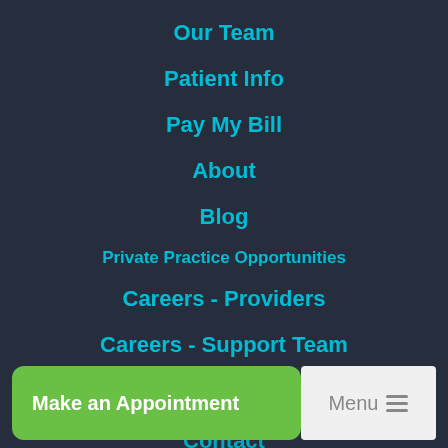Our Team
Patient Info
Pay My Bill
About
Blog
Private Practice Opportunities
Careers - Providers
Careers - Support Team
Contact
Make an Appointment
Menu